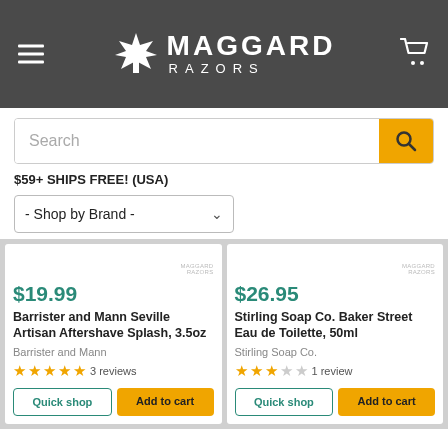Maggard Razors
Search
$59+ SHIPS FREE! (USA)
- Shop by Brand -
$19.99
Barrister and Mann Seville Artisan Aftershave Splash, 3.5oz
Barrister and Mann
3 reviews
$26.95
Stirling Soap Co. Baker Street Eau de Toilette, 50ml
Stirling Soap Co.
1 review